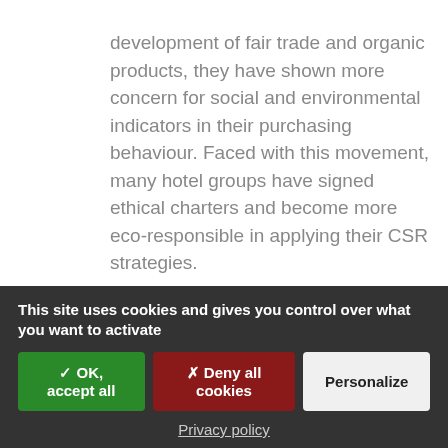development of fair trade and organic products, they have shown more concern for social and environmental indicators in their purchasing behaviour. Faced with this movement, many hotel groups have signed ethical charters and become more eco-responsible in applying their CSR strategies.
Bergan, a French textile company dedicated to the luxury sector, can make a significant
This site uses cookies and gives you control over what you want to activate
✓ OK, accept all
✗ Deny all cookies
Personalize
Privacy policy